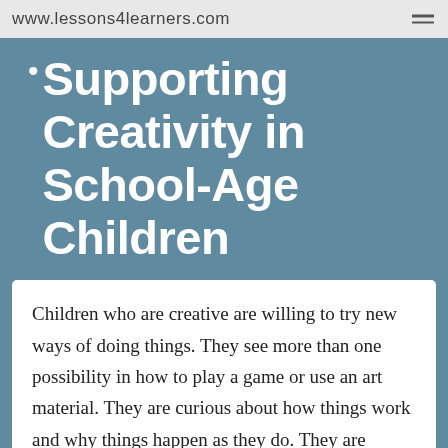www.lessons4learners.com
Supporting Creativity in School-Age Children
Children who are creative are willing to try new ways of doing things. They see more than one possibility in how to play a game or use an art material.  They are curious about how things work and why things happen as they do. They are willing to take risks. When they try something new and it doesn't work, they learn from their mistakes, and try another approach.